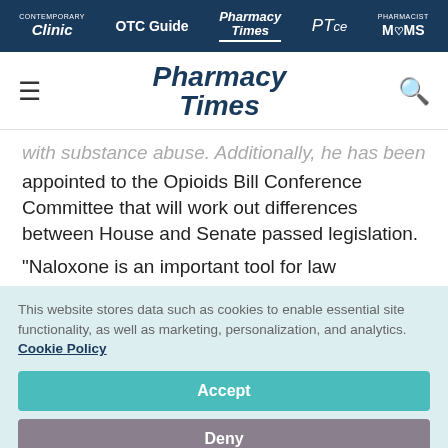Clinic | OTC Guide | Pharmacy Times | PTce | Pharmacist MOMS
[Figure (logo): Pharmacy Times logo with hamburger menu and search icon]
with substance abuse. Additionally, he has been appointed to the Opioids Bill Conference Committee that will work out differences between House and Senate passed legislation.
"Naloxone is an important tool for law
This website stores data such as cookies to enable essential site functionality, as well as marketing, personalization, and analytics. Cookie Policy
Accept
Deny